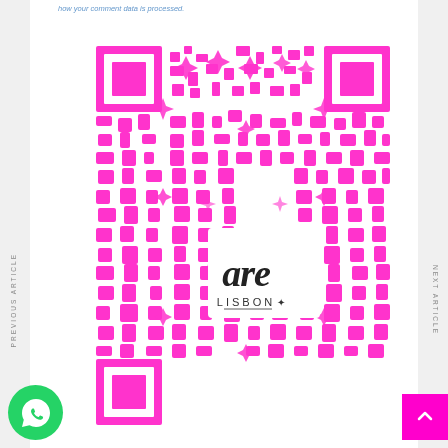how your comment data is processed.
[Figure (other): Pink QR code with a cursive logo reading 'are LISBON' in the center, styled as a decorative QR code in bright pink/magenta color]
[Figure (other): WhatsApp button - green circular icon with phone handset]
PREVIOUS ARTICLE
NEXT ARTICLE
[Figure (other): Pink scroll-to-top button with upward chevron arrow]